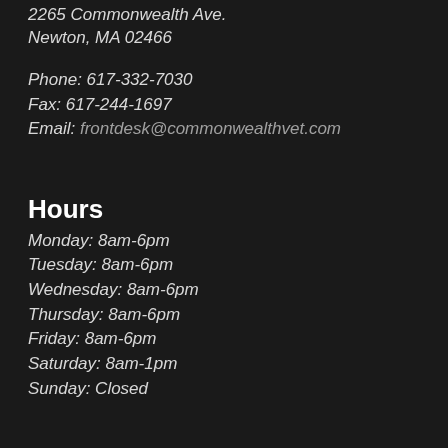2265 Commonwealth Ave.
Newton, MA 02466
Phone: 617-332-7030
Fax: 617-244-1697
Email: frontdesk@commonwealthvet.com
Hours
Monday: 8am-6pm
Tuesday: 8am-6pm
Wednesday: 8am-6pm
Thursday: 8am-6pm
Friday: 8am-6pm
Saturday: 8am-1pm
Sunday: Closed